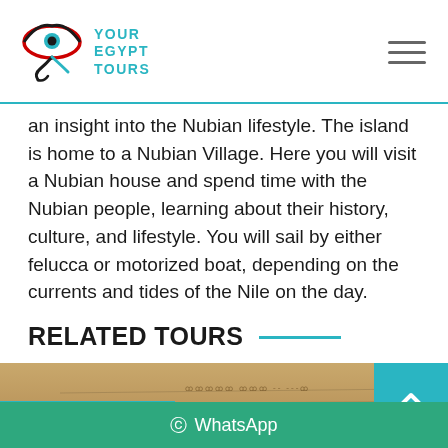[Figure (logo): Your Egypt Tours logo with Eye of Horus icon and teal text reading YOUR EGYPT TOURS]
an insight into the Nubian lifestyle. The island is home to a Nubian Village. Here you will visit a Nubian house and spend time with the Nubian people, learning about their history, culture, and lifestyle. You will sail by either felucca or motorized boat, depending on the currents and tides of the Nile on the day.
RELATED TOURS
[Figure (photo): Sandy/stone textured image resembling ancient Egyptian inscriptions or carved stone]
FROM $ 199
WhatsApp